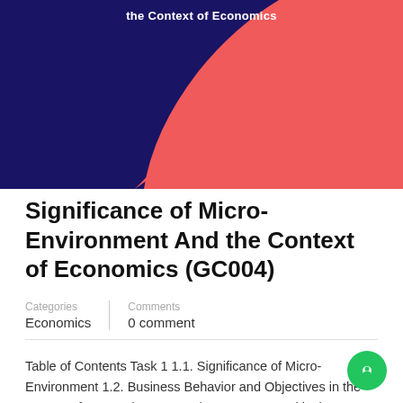[Figure (illustration): Banner image with coral/red background and a large dark navy blue curved shape on the left side, white bold text partially visible at top reading 'the Context of Economics']
Significance of Micro-Environment And the Context of Economics (GC004)
Categories: Economics | Comments: 0 comment
Table of Contents Task 1 1.1. Significance of Micro-Environment 1.2. Business Behavior and Objectives in the context of economics 1.3. Market Structure and its impact on Business Organizations Task 2 …